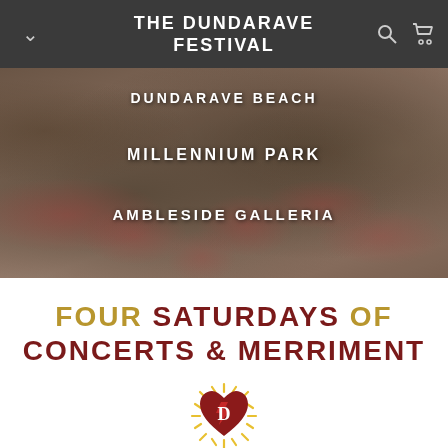THE DUNDARAVE FESTIVAL
[Figure (photo): Crowded outdoor festival market scene with sepia/warm tone, overlaid with location text: DUNDARAVE BEACH, MILLENNIUM PARK, AMBLESIDE GALLERIA]
DUNDARAVE BEACH
MILLENNIUM PARK
AMBLESIDE GALLERIA
FOUR SATURDAYS OF CONCERTS & MERRIMENT
[Figure (logo): Dundarave Festival logo: a red heart with letter D inside, surrounded by golden sun rays]